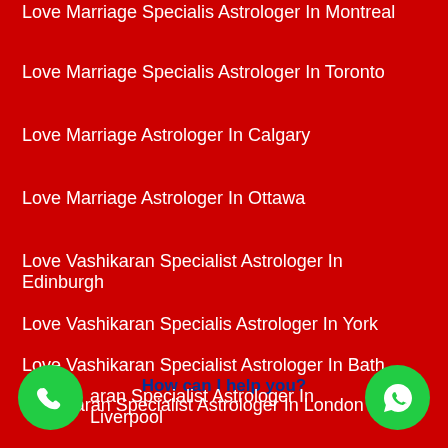Love Marriage Specialis Astrologer In Montreal
Love Marriage Specialis Astrologer In Toronto
Love Marriage Astrologer In Calgary
Love Marriage Astrologer In Ottawa
Love Vashikaran Specialist Astrologer In Edinburgh
Love Vashikaran Specialis Astrologer In York
Love Vashikaran Specialist Astrologer In Bath
Vashikaran Specialist Astrologer In London
How can I help you?
aran Specialist Astrologer In Liverpool